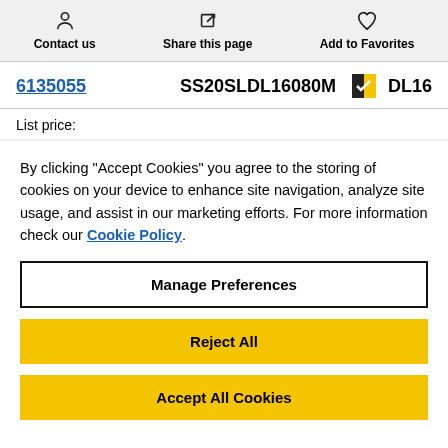Contact us | Share this page | Add to Favorites
6135055  SS20SLDL16080M  DL16
List price:
By clicking "Accept Cookies" you agree to the storing of cookies on your device to enhance site navigation, analyze site usage, and assist in our marketing efforts. For more information check our Cookie Policy.
Manage Preferences
Reject All
Accept All Cookies